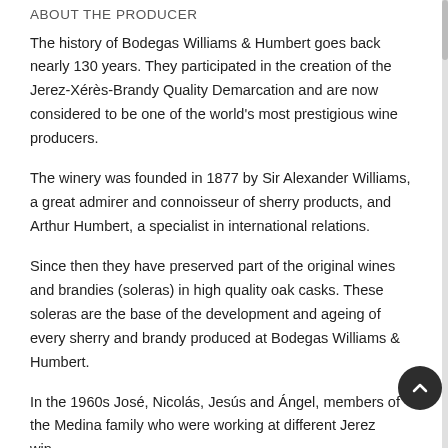ABOUT THE PRODUCER
The history of Bodegas Williams & Humbert goes back nearly 130 years. They participated in the creation of the Jerez-Xérès-Brandy Quality Demarcation and are now considered to be one of the world's most prestigious wine producers.
The winery was founded in 1877 by Sir Alexander Williams, a great admirer and connoisseur of sherry products, and Arthur Humbert, a specialist in international relations.
Since then they have preserved part of the original wines and brandies (soleras) in high quality oak casks. These soleras are the base of the development and ageing of every sherry and brandy produced at Bodegas Williams & Humbert.
In the 1960s José, Nicolás, Jesús and Ángel, members of the Medina family who were working at different Jerez wineries, decided to steer their careers towards creating their own winery. To this day, four generations of the Medina family have...